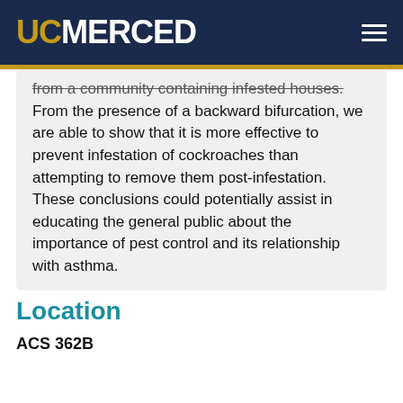UC MERCED
from a community containing infested houses. From the presence of a backward bifurcation, we are able to show that it is more effective to prevent infestation of cockroaches than attempting to remove them post-infestation. These conclusions could potentially assist in educating the general public about the importance of pest control and its relationship with asthma.
Location
ACS 362B